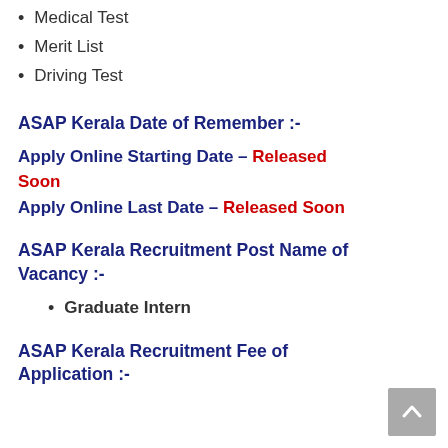Medical Test
Merit List
Driving Test
ASAP Kerala Date of Remember :-
Apply Online Starting Date – Released Soon
Apply Online Last Date – Released Soon
ASAP Kerala Recruitment Post Name of Vacancy :-
Graduate Intern
ASAP Kerala Recruitment Fee of Application :-